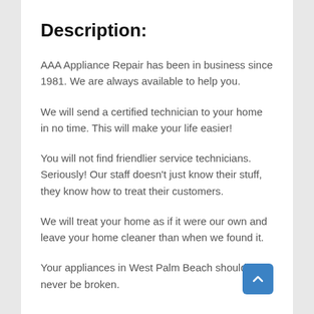Description:
AAA Appliance Repair has been in business since 1981. We are always available to help you.
We will send a certified technician to your home in no time. This will make your life easier!
You will not find friendlier service technicians. Seriously! Our staff doesn’t just know their stuff, they know how to treat their customers.
We will treat your home as if it were our own and leave your home cleaner than when we found it.
Your appliances in West Palm Beach should never be broken.